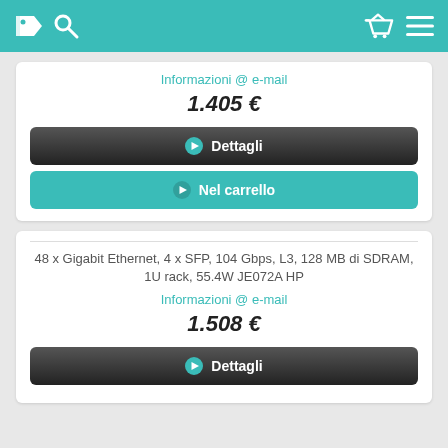navigation header with tag, search, basket, menu icons
Informazioni @ e-mail
1.405 €
Dettagli
Nel carrello
48 x Gigabit Ethernet, 4 x SFP, 104 Gbps, L3, 128 MB di SDRAM, 1U rack, 55.4W JE072A HP
Informazioni @ e-mail
1.508 €
Dettagli